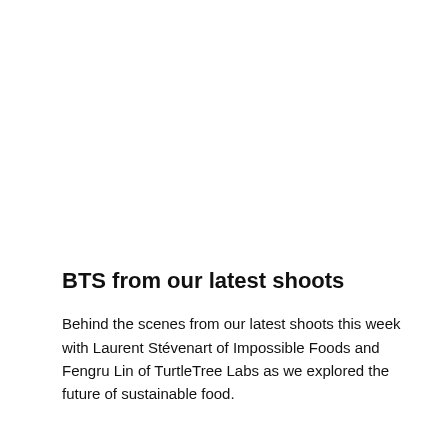BTS from our latest shoots
Behind the scenes from our latest shoots this week with Laurent Stévenart of Impossible Foods and Fengru Lin of TurtleTree Labs as we explored the future of sustainable food.